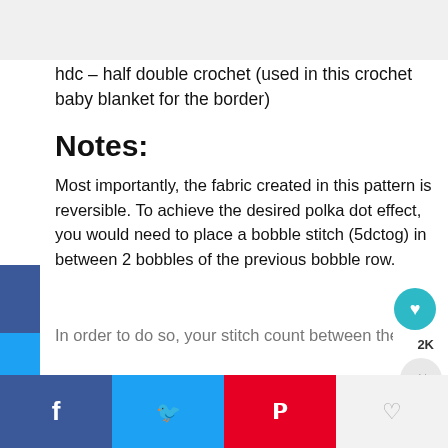hdc – half double crochet (used in this crochet baby blanket for the border)
Notes:
Most importantly, the fabric created in this pattern is reversible. To achieve the desired polka dot effect, you would need to place a bobble stitch (5dctog) in between 2 bobbles of the previous bobble row.
In order to do so, your stitch count between the